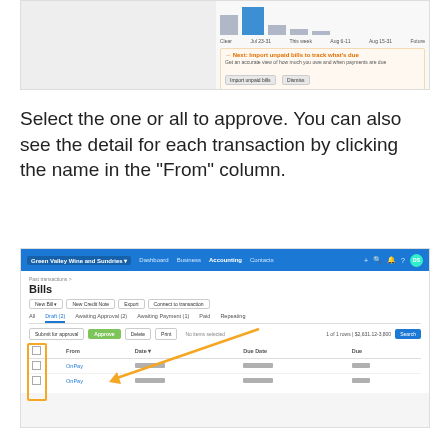[Figure (screenshot): Top portion of a Xero-like accounting dashboard screenshot showing a bills overview chart with bar graph and an import unpaid bills prompt.]
Select the one or all to approve. You can also see the detail for each transaction by clicking the name in the “From” column.
[Figure (screenshot): Screenshot of Xero Bills page showing navigation bar, Bills header, action buttons (New Bill, New Credit Note, Export, Connect to transaction), tabs (All, Draft, Awaiting Approval, Awaiting Payment, Paid, Repeating), action row with Approve button highlighted in green, and a table listing two OnPay bill rows with Date, Due Date, and Due columns. An orange arrow and orange highlight box point to the From column checkboxes.]